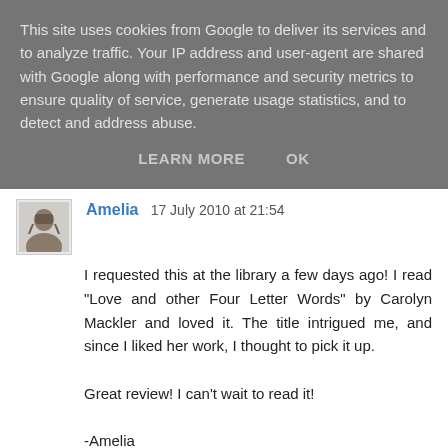This site uses cookies from Google to deliver its services and to analyze traffic. Your IP address and user-agent are shared with Google along with performance and security metrics to ensure quality of service, generate usage statistics, and to detect and address abuse.
LEARN MORE    OK
Amelia  17 July 2010 at 21:54
I requested this at the library a few days ago! I read "Love and other Four Letter Words" by Carolyn Mackler and loved it. The title intrigued me, and since I liked her work, I thought to pick it up.

Great review! I can't wait to read it!

-Amelia
(oh, what a horribly bland comment this is. I am SO off my game. XD)
Reply